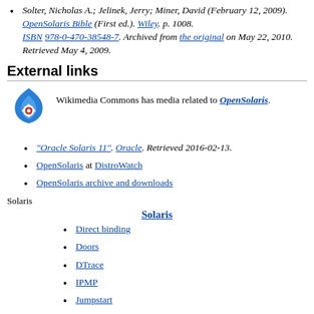Solter, Nicholas A.; Jelinek, Jerry; Miner, David (February 12, 2009). OpenSolaris Bible (First ed.). Wiley. p. 1008. ISBN 978-0-470-38548-7. Archived from the original on May 22, 2010. Retrieved May 4, 2009.
External links
[Figure (logo): Wikimedia Commons logo - flame with gear icon in blue and red]
Wikimedia Commons has media related to OpenSolaris.
"Oracle Solaris 11". Oracle. Retrieved 2016-02-13.
OpenSolaris at DistroWatch
OpenSolaris archive and downloads
Solaris
Solaris
Direct binding
Doors
DTrace
IPMP
Jumpstart
mdb
MPxIO